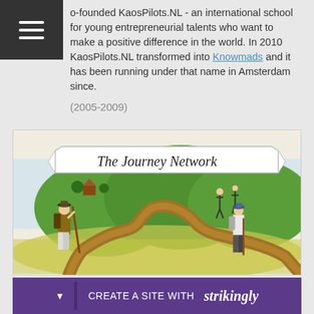o-founded KaosPilots.NL - an international school for young entrepreneurial talents who want to make a positive difference in the world. In 2010 KaosPilots.NL transformed into Knowmads and it has been running under that name in Amsterdam since.
(2005-2009)
[Figure (illustration): Hand-drawn illustration titled 'The Journey Network' showing a winding path through green hills with a blue sky. Two hikers with walking sticks stand on either side of the path, and small figures are visible on the hilltops. A banner at the top reads 'The Journey Network'.]
CREATE A SITE WITH strikingly